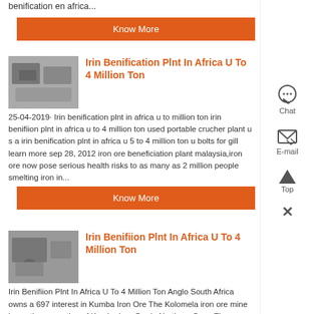benification en africa...
Know More
Irin Benification Plnt In Africa U To 4 Million Ton
25-04-2019· Irin benification plnt in africa u to million ton irin benifiion plnt in africa u to 4 million ton used portable crucher plant u s a irin benification plnt in africa u 5 to 4 million ton u bolts for gill learn more sep 28, 2012 iron ore beneficiation plant malaysia,iron ore now pose serious health risks to as many as 2 million people smelting iron in...
Know More
Irin Benifiion Plnt In Africa U To 4 Million Ton
Irin Benifiion Plnt In Africa U To 4 Million Ton Anglo South Africa owns a 697 interest in Kumba Iron Ore The Kolomela iron ore mine is another operation of Kumba Iron Ore in Northern Cape The mining operation at Sishen dates back to 1953 The first ore from the mine was